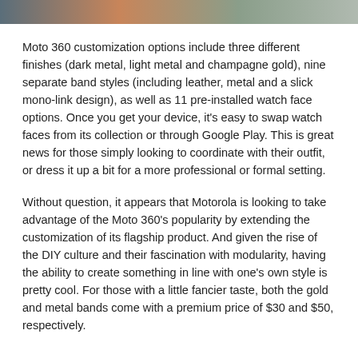[Figure (photo): Cropped top portion of a photo showing colorful background, partially visible at top of page.]
Moto 360 customization options include three different finishes (dark metal, light metal and champagne gold), nine separate band styles (including leather, metal and a slick mono-link design), as well as 11 pre-installed watch face options. Once you get your device, it's easy to swap watch faces from its collection or through Google Play. This is great news for those simply looking to coordinate with their outfit, or dress it up a bit for a more professional or formal setting.
Without question, it appears that Motorola is looking to take advantage of the Moto 360's popularity by extending the customization of its flagship product. And given the rise of the DIY culture and their fascination with modularity, having the ability to create something in line with one's own style is pretty cool. For those with a little fancier taste, both the gold and metal bands come with a premium price of $30 and $50, respectively.